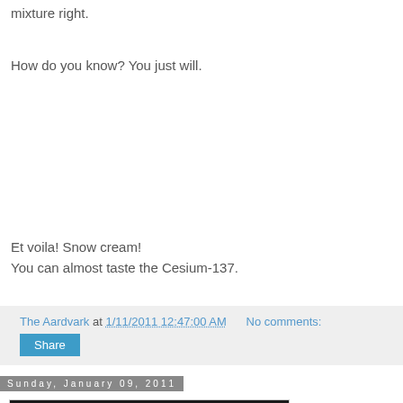mixture right.
How do you know? You just will.
Et voila! Snow cream!
You can almost taste the Cesium-137.
The Aardvark at 1/11/2011 12:47:00 AM    No comments:
Share
Sunday, January 09, 2011
[Figure (photo): Dark photograph, partially visible at bottom of page]
Welcome to winter